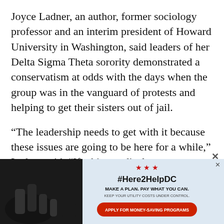Joyce Ladner, an author, former sociology professor and an interim president of Howard University in Washington, said leaders of her Delta Sigma Theta sorority demonstrated a conservatism at odds with the days when the group was in the vanguard of protests and helping to get their sisters out of jail.
“The leadership needs to get with it because these issues are going to be here for a while,” Ladner said. “If white medical
[Figure (infographic): Advertisement banner for #Here2HelpDC utility assistance program. Shows a dark photo of hands on left side, with text '#Here2HelpDC', 'MAKE A PLAN. PAY WHAT YOU CAN.', 'KEEP YOUR UTILITY COSTS UNDER CONTROL.' and a red button reading 'APPLY FOR MONEY-SAVING PROGRAMS'. Three red stars at top.]